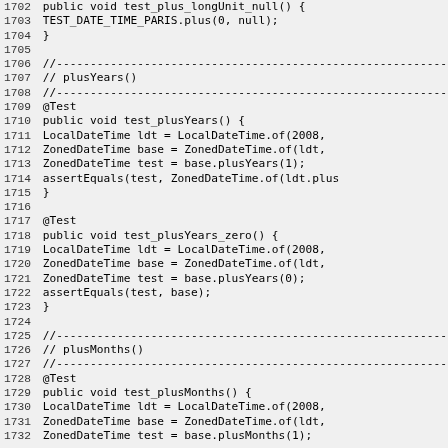[Figure (screenshot): Source code listing (Java) showing lines 1702-1732, including test methods test_plusYears, test_plusYears_zero, and beginning of test_plusMonths, with line numbers on the left and monospace code on the right on a light gray background.]